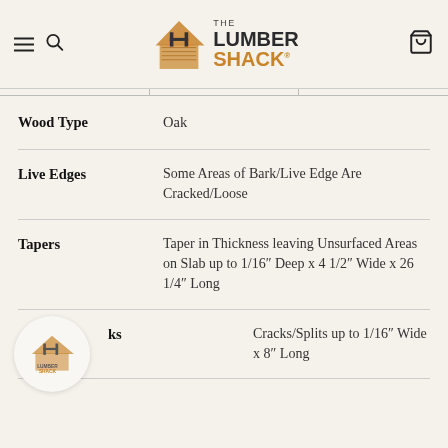The Lumber Shack
| Property | Value |
| --- | --- |
| Wood Type | Oak |
| Live Edges | Some Areas of Bark/Live Edge Are Cracked/Loose |
| Tapers | Taper in Thickness leaving Unsurfaced Areas on Slab up to 1/16″ Deep x 4 1/2″ Wide x 26 1/4″ Long |
| Cracks/Splits (partial) | Cracks/Splits up to 1/16″ Wide x 8″ Long |